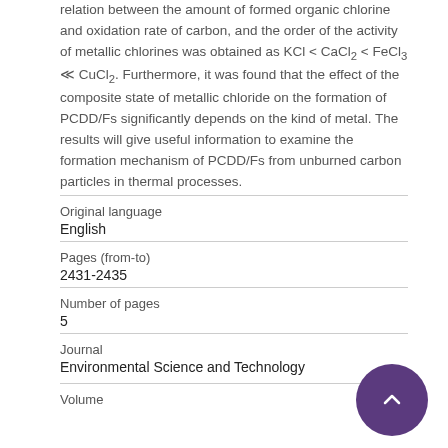relation between the amount of formed organic chlorine and oxidation rate of carbon, and the order of the activity of metallic chlorines was obtained as KCl < CaCl2 < FeCl3 ≪ CuCl2. Furthermore, it was found that the effect of the composite state of metallic chloride on the formation of PCDD/Fs significantly depends on the kind of metal. The results will give useful information to examine the formation mechanism of PCDD/Fs from unburned carbon particles in thermal processes.
| Field | Value |
| --- | --- |
| Original language | English |
| Pages (from-to) | 2431-2435 |
| Number of pages | 5 |
| Journal | Environmental Science and Technology |
| Volume |  |